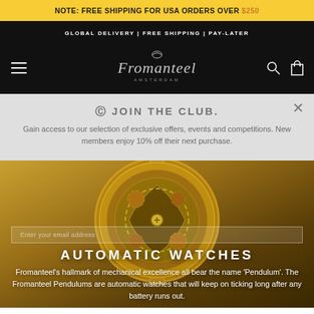NOTE: FREE SHIPPING FOR USA ORDERS OVER $250
GLOBAL DELIVERY | FREE SHIPPING | PAY-LATER
[Figure (logo): Fromanteel Amsterdam logo with stylized script lettering and emblem on black background, with hamburger menu icon on left and search/cart icons on right]
© JOIN THE CLUB.
Gain access to our selection of exclusive offers, events and competitions. New members enjoy 10% off their next purchase.
[Figure (photo): Close-up of a mechanical watch movement/caseback with golden/bronze tones, showing intricate gears and rotor mechanism]
AUTOMATIC WATCHES
Fromanteel's hallmark of mechanical excellence all bear the name 'Pendulum'. The Fromanteel Pendulums are automatic watches that will keep on ticking long after any battery runs out.